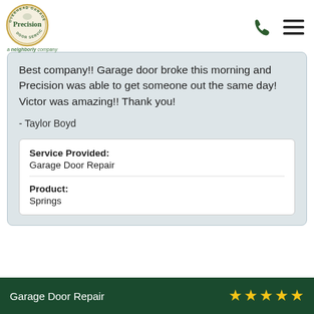Precision Door Service - a Neighborly company
Best company!! Garage door broke this morning and Precision was able to get someone out the same day! Victor was amazing!! Thank you!
- Taylor Boyd
| Service Provided: | Garage Door Repair |
| Product: | Springs |
Garage Door Repair ★★★★★